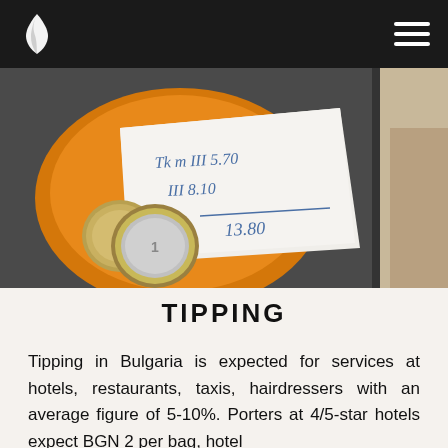[Figure (photo): Photo of euro coins resting on a restaurant bill/receipt on an orange plate, with a handwritten bill showing items and total of 13.80, on a dark surface. Partially visible image on the right side.]
TIPPING
Tipping in Bulgaria is expected for services at hotels, restaurants, taxis, hairdressers with an average figure of 5-10%. Porters at 4/5-star hotels expect BGN 2 per bag, hotel housekeepers BGN 1.50-3, 10% tip at restaurants.